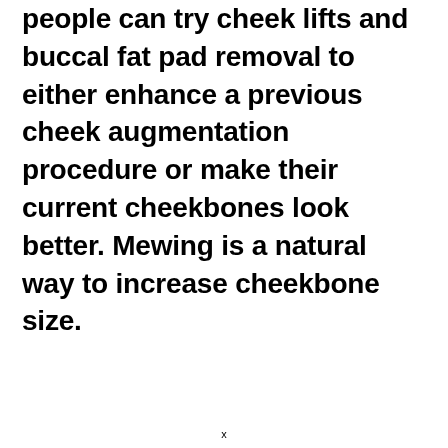people can try cheek lifts and buccal fat pad removal to either enhance a previous cheek augmentation procedure or make their current cheekbones look better. Mewing is a natural way to increase cheekbone size.
x